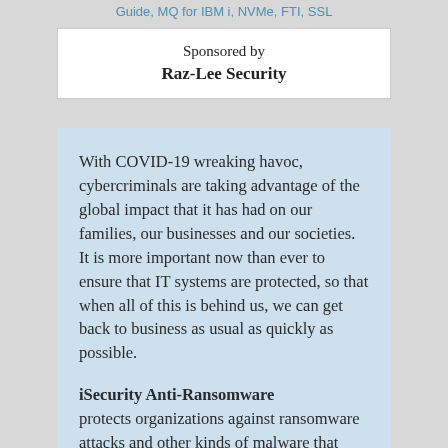Guide, MQ for IBM i, NVMe, FTI, SSL
Sponsored by
Raz-Lee Security
With COVID-19 wreaking havoc, cybercriminals are taking advantage of the global impact that it has had on our families, our businesses and our societies. It is more important now than ever to ensure that IT systems are protected, so that when all of this is behind us, we can get back to business as usual as quickly as possible.
iSecurity Anti-Ransomware protects organizations against ransomware attacks and other kinds of malware that may access and change business-critical data on your IBM i. It even protects